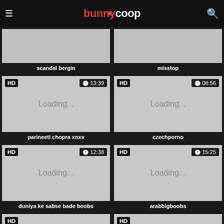bunnycoop.com
[Figure (screenshot): Video thumbnail loading placeholder - scandal bergin]
scandal bergin
[Figure (screenshot): Video thumbnail loading placeholder - misstop]
misstop
[Figure (screenshot): HD video thumbnail loading placeholder 13:39 - parineeti chopra xnxx]
parineeti chopra xnxx
[Figure (screenshot): HD video thumbnail loading placeholder 08:56 - czechporno]
czechporno
[Figure (screenshot): HD video thumbnail loading placeholder 12:38 - duniya ke sabse bade boobs]
duniya ke sabse bade boobs
[Figure (screenshot): HD video thumbnail loading placeholder 15:25 - arabbigboobs]
arabbigboobs